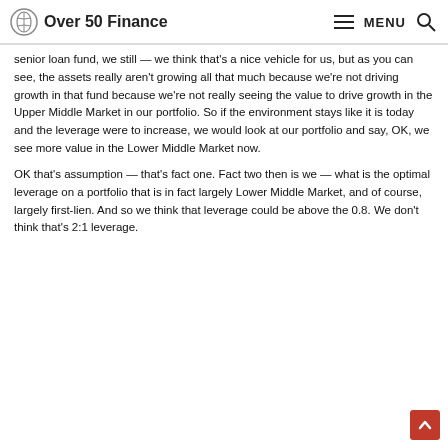Over 50 Finance
senior loan fund, we still — we think that's a nice vehicle for us, but as you can see, the assets really aren't growing all that much because we're not driving growth in that fund because we're not really seeing the value to drive growth in the Upper Middle Market in our portfolio. So if the environment stays like it is today and the leverage were to increase, we would look at our portfolio and say, OK, we see more value in the Lower Middle Market now.
OK that's assumption — that's fact one. Fact two then is we — what is the optimal leverage on a portfolio that is in fact largely Lower Middle Market, and of course, largely first-lien. And so we think that leverage could be above the 0.8. We don't think that's 2:1 leverage.